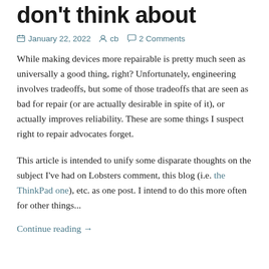don't think about
January 22, 2022   cb   2 Comments
While making devices more repairable is pretty much seen as universally a good thing, right? Unfortunately, engineering involves tradeoffs, but some of those tradeoffs that are seen as bad for repair (or are actually desirable in spite of it), or actually improves reliability. These are some things I suspect right to repair advocates forget.
This article is intended to unify some disparate thoughts on the subject I've had on Lobsters comment, this blog (i.e. the ThinkPad one), etc. as one post. I intend to do this more often for other things...
Continue reading →